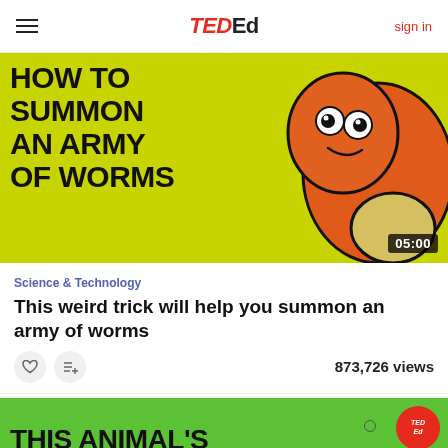TED Ed — sign in
[Figure (screenshot): TED-Ed video thumbnail showing cartoon worm on yellow-green background with text 'HOW TO SUMMON AN ARMY OF WORMS' and duration badge 05:00]
Science & Technology
This weird trick will help you summon an army of worms
873,726 views
[Figure (screenshot): Partial TED-Ed video thumbnail with green background showing text 'THIS ANIMAL'S' and TED-Ed logo badge]